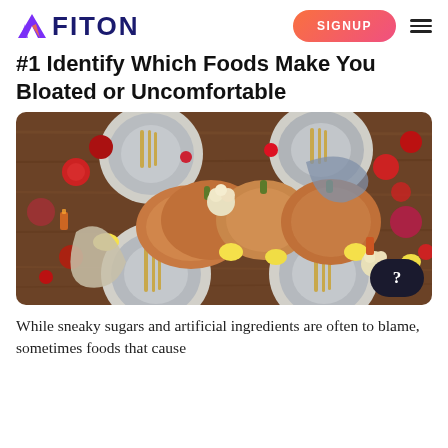FITON | SIGNUP
#1 Identify Which Foods Make You Bloated or Uncomfortable
[Figure (photo): Overhead shot of a festive table setting with pumpkins, apples, pomegranates, lemons, plates with gold cutlery, flowers, and candles on a wooden surface.]
While sneaky sugars and artificial ingredients are often to blame, sometimes foods that cause